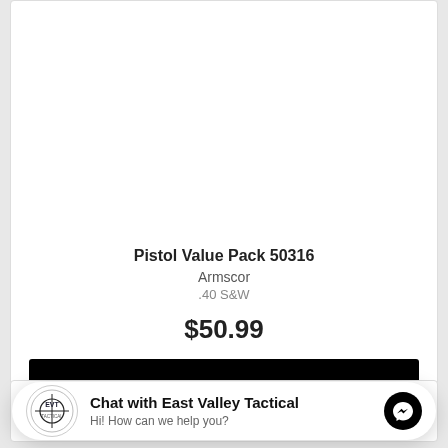[Figure (photo): Armscor Precision .40 S&W ammunition box, black and gold/orange colors, product image on a white background]
Pistol Value Pack 50316
Armscor
.40 S&W
$50.99
Add To Cart
[Figure (photo): Partial view of a second product card with a gray image placeholder]
Chat with East Valley Tactical
Hi! How can we help you?